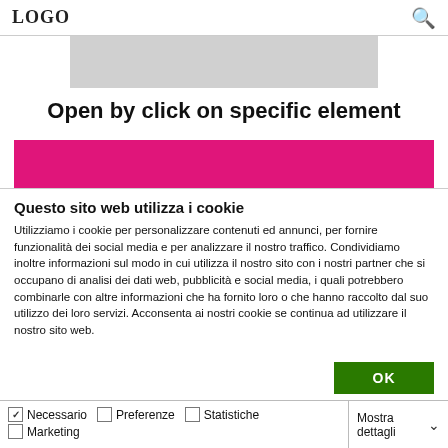LOGO
[Figure (photo): Partial image visible at top of page, grayscale/muted tones]
Open by click on specific element
[Figure (other): Pink/magenta horizontal banner strip]
Questo sito web utilizza i cookie
Utilizziamo i cookie per personalizzare contenuti ed annunci, per fornire funzionalità dei social media e per analizzare il nostro traffico. Condividiamo inoltre informazioni sul modo in cui utilizza il nostro sito con i nostri partner che si occupano di analisi dei dati web, pubblicità e social media, i quali potrebbero combinarle con altre informazioni che ha fornito loro o che hanno raccolto dal suo utilizzo dei loro servizi. Acconsenta ai nostri cookie se continua ad utilizzare il nostro sito web.
OK
Necessario  Preferenze  Statistiche  Marketing  Mostra dettagli